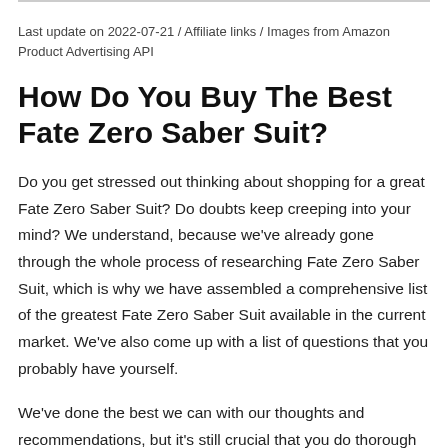Last update on 2022-07-21 / Affiliate links / Images from Amazon Product Advertising API
How Do You Buy The Best Fate Zero Saber Suit?
Do you get stressed out thinking about shopping for a great Fate Zero Saber Suit? Do doubts keep creeping into your mind? We understand, because we've already gone through the whole process of researching Fate Zero Saber Suit, which is why we have assembled a comprehensive list of the greatest Fate Zero Saber Suit available in the current market. We've also come up with a list of questions that you probably have yourself.
We've done the best we can with our thoughts and recommendations, but it's still crucial that you do thorough research on your own for Fate Zero Saber Suit